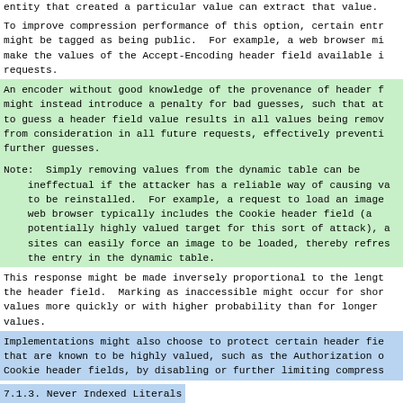entity that created a particular value can extract that value.
To improve compression performance of this option, certain entr might be tagged as being public.  For example, a web browser mi make the values of the Accept-Encoding header field available i requests.
An encoder without good knowledge of the provenance of header f might instead introduce a penalty for bad guesses, such that at to guess a header field value results in all values being remov from consideration in all future requests, effectively preventi further guesses.
Note:  Simply removing values from the dynamic table can be
    ineffectual if the attacker has a reliable way of causing va to be reinstalled.  For example, a request to load an image web browser typically includes the Cookie header field (a potentially highly valued target for this sort of attack), a sites can easily force an image to be loaded, thereby refres the entry in the dynamic table.
This response might be made inversely proportional to the lengt the header field.  Marking as inaccessible might occur for shor values more quickly or with higher probability than for longer values.
Implementations might also choose to protect certain header fie that are known to be highly valued, such as the Authorization o Cookie header fields, by disabling or further limiting compress
7.1.3.  Never Indexed Literals
Refusing to generate an indexed representation for a header fie only effective if compression is avoided on all hops.  The neve indexed literal (see Section 6.2.3) can be used to signal to intermediaries that a particular value was intentionally sent a